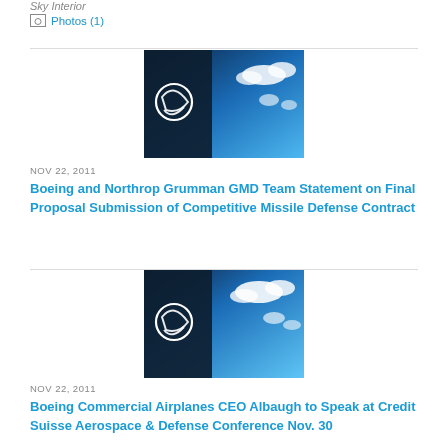Sky Interior
Photos (1)
[Figure (photo): Boeing logo on building exterior against blue sky with clouds]
NOV 22, 2011
Boeing and Northrop Grumman GMD Team Statement on Final Proposal Submission of Competitive Missile Defense Contract
[Figure (photo): Boeing logo on building exterior against blue sky with clouds]
NOV 22, 2011
Boeing Commercial Airplanes CEO Albaugh to Speak at Credit Suisse Aerospace & Defense Conference Nov. 30